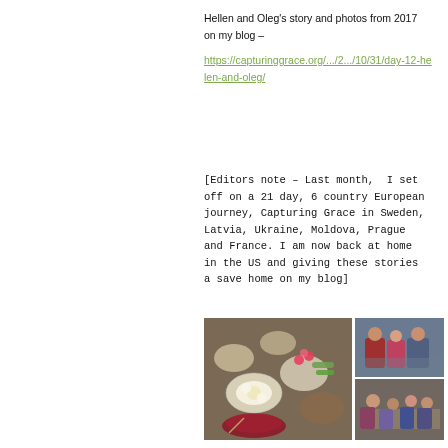Hellen and Oleg's story and photos from 2017 on my blog –
https://capturinggrace.org/.../2.../10/31/day-12-helen-and-oleg/
[Editors note – Last month,  I set off on a 21 day, 6 country European journey, Capturing Grace in Sweden, Latvia, Ukraine, Moldova, Prague and France. I am now back at home in the US and giving these stories a save home on my blog]
[Figure (photo): Overhead shot of a table with multiple dishes of food including eggs, vegetables, mushrooms and a bowl of soup]
[Figure (photo): Group of people at a dining table smiling]
[Figure (photo): Group of people seated at a table indoors]
[Figure (photo): Partial photos of people at bottom of page]